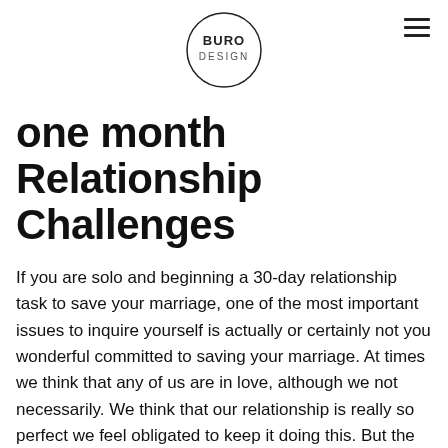[Figure (logo): BURO DESIGN logo inside a hand-drawn circle]
one month Relationship Challenges
If you are solo and beginning a 30-day relationship task to save your marriage, one of the most important issues to inquire yourself is actually or certainly not you wonderful committed to saving your marriage. At times we think that any of us are in love, although we not necessarily. We think that our relationship is really so perfect we feel obligated to keep it doing this. But the truth is that after you will be in a dedicated and relationship, something else may always happen. A break up can happen.